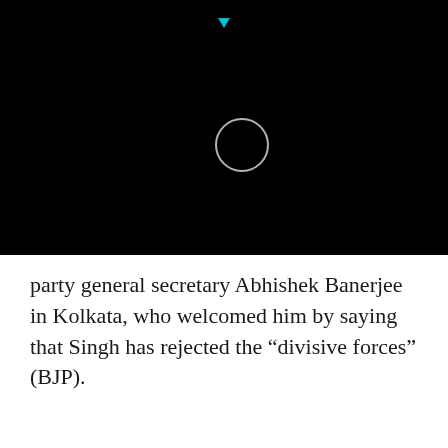[Figure (screenshot): Black video player interface with a small cyan downward-pointing triangle at top center and a circular ring icon (play button outline) in the upper-left area of the player]
party general secretary Abhishek Banerjee in Kolkata, who welcomed him by saying that Singh has rejected the “divisive forces” (BJP).